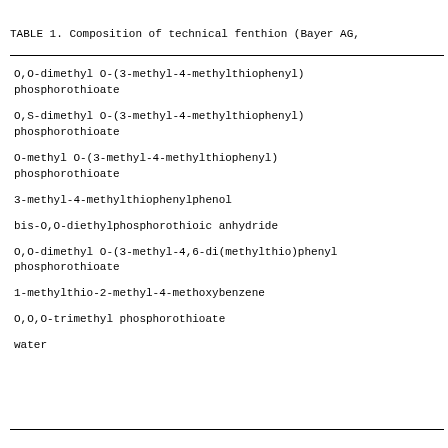TABLE 1. Composition of technical fenthion (Bayer AG,
| Compound |
| --- |
| O,O-dimethyl O-(3-methyl-4-methylthiophenyl)
phosphorothioate |
| O,S-dimethyl O-(3-methyl-4-methylthiophenyl)
phosphorothioate |
| O-methyl O-(3-methyl-4-methylthiophenyl)
phosphorothioate |
| 3-methyl-4-methylthiophenylphenol |
| bis-O,O-diethylphosphorothioic anhydride |
| O,O-dimethyl O-(3-methyl-4,6-di(methylthio)phenyl
phosphorothioate |
| 1-methylthio-2-methyl-4-methoxybenzene |
| O,O,O-trimethyl phosphorothioate |
| water |